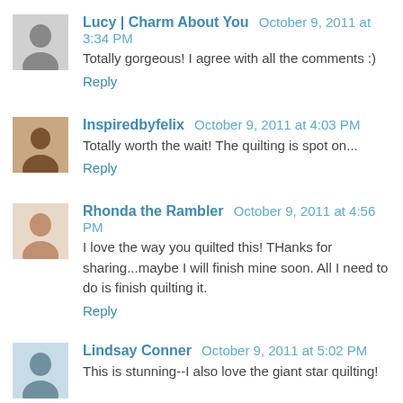Lucy | Charm About You   October 9, 2011 at 3:34 PM
Totally gorgeous! I agree with all the comments :)
Reply
Inspiredbyfelix   October 9, 2011 at 4:03 PM
Totally worth the wait! The quilting is spot on...
Reply
Rhonda the Rambler   October 9, 2011 at 4:56 PM
I love the way you quilted this! THanks for sharing...maybe I will finish mine soon. All I need to do is finish quilting it.
Reply
Lindsay Conner   October 9, 2011 at 5:02 PM
This is stunning--I also love the giant star quilting!